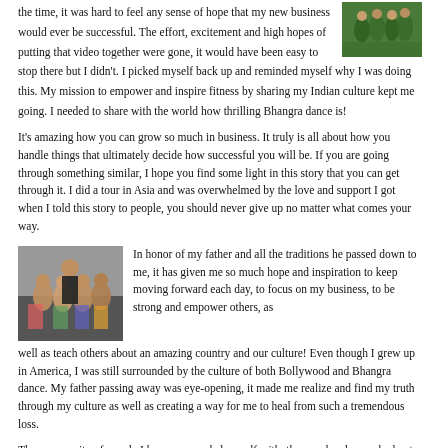the time, it was hard to feel any sense of hope that my new business would ever be successful. The effort, excitement and high hopes of putting that video together were gone, it would have been easy to stop there but I didn't. I picked myself back up and reminded myself why I was doing this. My mission to empower and inspire fitness by sharing my Indian culture kept me going. I needed to share with the world how thrilling Bhangra dance is!
[Figure (photo): Group of women in green outfits, top right]
It's amazing how you can grow so much in business. It truly is all about how you handle things that ultimately decide how successful you will be. If you are going through something similar, I hope you find some light in this story that you can get through it. I did a tour in Asia and was overwhelmed by the love and support I got when I told this story to people, you should never give up no matter what comes your way.
[Figure (photo): Group photo of women in colorful outfits, left side]
In honor of my father and all the traditions he passed down to me, it has given me so much hope and inspiration to keep moving forward each day, to focus on my business, to be strong and empower others, as well as teach others about an amazing country and our culture! Even though I grew up in America, I was still surrounded by the culture of both Bollywood and Bhangra dance. My father passing away was eye-opening, it made me realize and find my truth through my culture as well as creating a way for me to heal from such a tremendous loss.
The community of people I have surrounded myself with, the people who reached out to me to help make this a success and my mom supporting me is